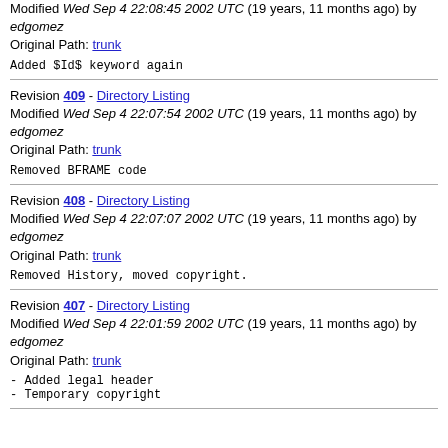Modified Wed Sep 4 22:08:45 2002 UTC (19 years, 11 months ago) by edgomez
Original Path: trunk
Added $Id$ keyword again
Revision 409 - Directory Listing
Modified Wed Sep 4 22:07:54 2002 UTC (19 years, 11 months ago) by edgomez
Original Path: trunk
Removed BFRAME code
Revision 408 - Directory Listing
Modified Wed Sep 4 22:07:07 2002 UTC (19 years, 11 months ago) by edgomez
Original Path: trunk
Removed History, moved copyright.
Revision 407 - Directory Listing
Modified Wed Sep 4 22:01:59 2002 UTC (19 years, 11 months ago) by edgomez
Original Path: trunk
- Added legal header
- Temporary copyright